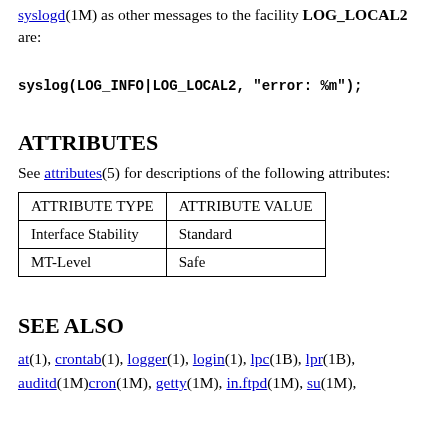syslogd(1M) as other messages to the facility LOG_LOCAL2 are:
ATTRIBUTES
See attributes(5) for descriptions of the following attributes:
| ATTRIBUTE TYPE | ATTRIBUTE VALUE |
| --- | --- |
| Interface Stability | Standard |
| MT-Level | Safe |
SEE ALSO
at(1), crontab(1), logger(1), login(1), lpc(1B), lpr(1B), auditd(1M), cron(1M), getty(1M), in.ftpd(1M), su(1M),